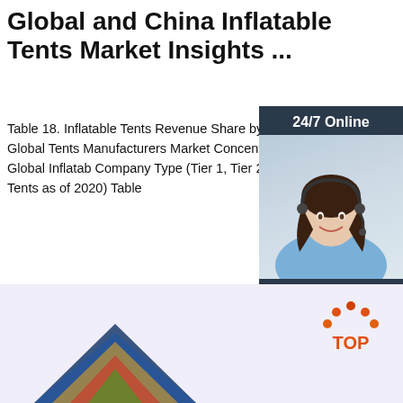Global and China Inflatable Tents Market Insights ...
Table 18. Inflatable Tents Revenue Share by Manufacturers (2016-2021) Table 19. Global Tents Manufacturers Market Concentration R HHI) & (2016-2021) Table 20. Global Inflatab Company Type (Tier 1, Tier 2 and Tier 3) (ba Revenue in Inflatable Tents as of 2020) Table
[Figure (other): Get Price orange button]
[Figure (other): 24/7 Online chat widget with woman wearing headset, Click here for free chat!, QUOTATION button]
[Figure (other): Bottom lavender section with TOP button and partial product image]